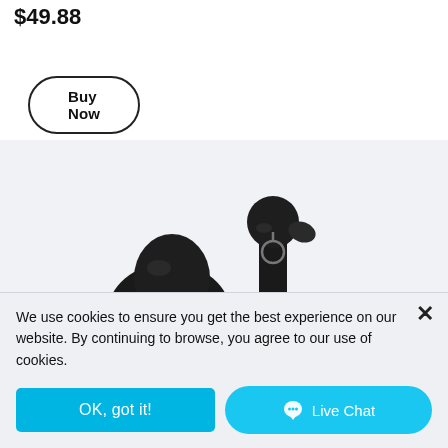$49.88
Buy Now
[Figure (photo): Two black wireless earbuds (in-ear headphones) displayed on a light gray background, photographed from above at a slight angle. The earbuds have a dark matte finish with small circular logos on the stems.]
We use cookies to ensure you get the best experience on our website. By continuing to browse, you agree to our use of cookies.
OK, got it!
Live Chat